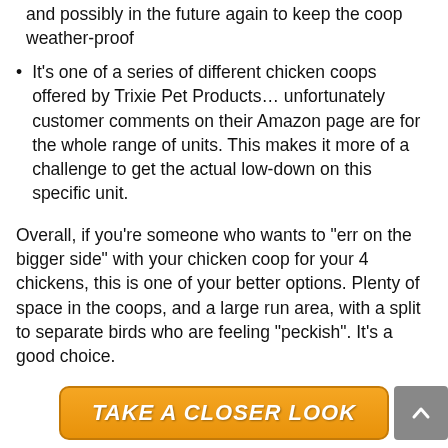and possibly in the future again to keep the coop weather-proof
It's one of a series of different chicken coops offered by Trixie Pet Products… unfortunately customer comments on their Amazon page are for the whole range of units. This makes it more of a challenge to get the actual low-down on this specific unit.
Overall, if you're someone who wants to "err on the bigger side" with your chicken coop for your 4 chickens, this is one of your better options. Plenty of space in the coops, and a large run area, with a split to separate birds who are feeling "peckish". It's a good choice.
[Figure (other): Orange button with text TAKE A CLOSER LOOK]